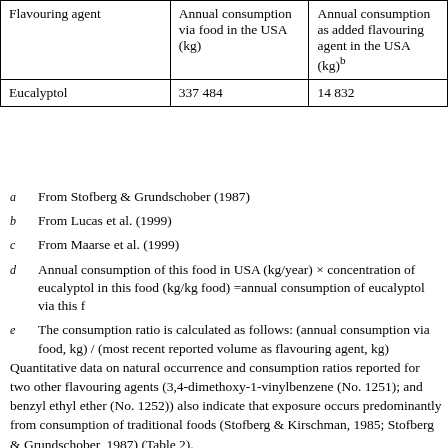| Flavouring agent | Annual consumption via food in the USA (kg) | Annual consumption as added flavouring agent in the USA (kg)b |
| --- | --- | --- |
| Eucalyptol | 337 484 | 14 832 |
a   From Stofberg & Grundschober (1987)
b   From Lucas et al. (1999)
c   From Maarse et al. (1999)
d   Annual consumption of this food in USA (kg/year) × concentration of eucalyptol in this food (kg/kg food) =annual consumption of eucalyptol via this food (kg/year)
e   The consumption ratio is calculated as follows: (annual consumption via food, kg) / (most recent reported volume as flavouring agent, kg)
Quantitative data on natural occurrence and consumption ratios reported for two other flavouring agents (3,4-dimethoxy-1-vinylbenzene (No. 1251); and benzyl ethyl ether (No. 1252)) also indicate that exposure occurs predominantly from consumption of traditional foods (Stofberg & Kirschman, 1985; Stofberg & Grundschober, 1987) (Table 2).